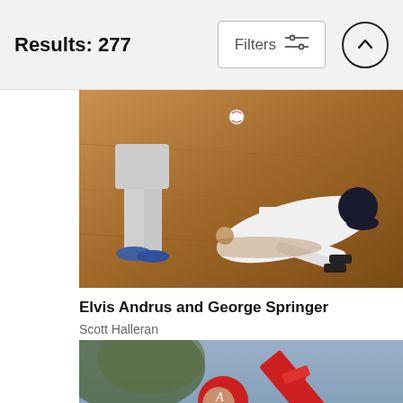Results: 277
[Figure (photo): Baseball action photo showing Elvis Andrus and George Springer, player sliding into base on dirt infield]
Elvis Andrus and George Springer
Scott Halleran
$9.62
[Figure (photo): Baseball pitcher in red Angels uniform mid-windup delivery on mound]